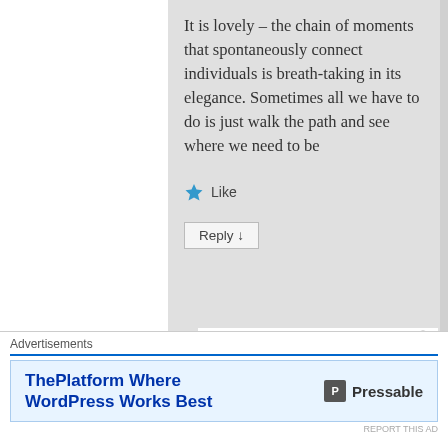It is lovely – the chain of moments that spontaneously connect individuals is breath-taking in its elegance. Sometimes all we have to do is just walk the path and see where we need to be
★ Like
Reply ↓
jotsfromasmallapt on 2012-
Advertisements
ThePlatform Where WordPress Works Best
Pressable